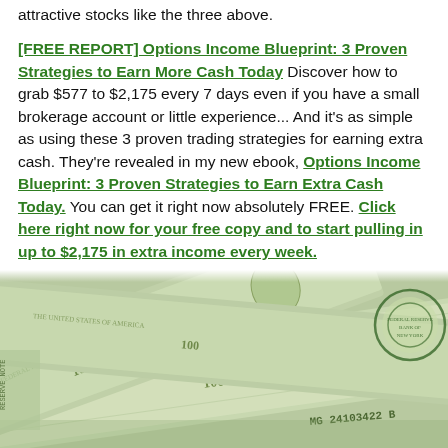attractive stocks like the three above.

[FREE REPORT] Options Income Blueprint: 3 Proven Strategies to Earn More Cash Today Discover how to grab $577 to $2,175 every 7 days even if you have a small brokerage account or little experience... And it's as simple as using these 3 proven trading strategies for earning extra cash. They're revealed in my new ebook, Options Income Blueprint: 3 Proven Strategies to Earn Extra Cash Today. You can get it right now absolutely FREE. Click here right now for your free copy and to start pulling in up to $2,175 in extra income every week.
[Figure (photo): Close-up photo of US dollar bills fanned out showing currency details including serial numbers and Federal Reserve seals]